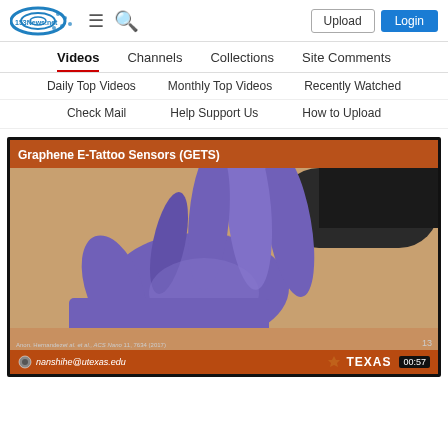153News.net — Upload | Login
Videos | Channels | Collections | Site Comments
Daily Top Videos | Monthly Top Videos | Recently Watched
Check Mail | Help Support Us | How to Upload
[Figure (screenshot): Video thumbnail showing a presentation slide titled 'Graphene E-Tattoo Sensors (GETS)' with an image of gloved purple hands touching skin, university of Texas branding, email nanshihe@utexas.edu, and timestamp 00:57]